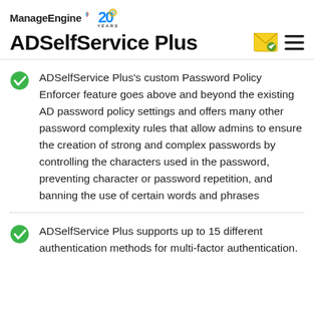ManageEngine 20 YEARS
ADSelfService Plus
ADSelfService Plus's custom Password Policy Enforcer feature goes above and beyond the existing AD password policy settings and offers many other password complexity rules that allow admins to ensure the creation of strong and complex passwords by controlling the characters used in the password, preventing character or password repetition, and banning the use of certain words and phrases
ADSelfService Plus supports up to 15 different authentication methods for multi-factor authentication.